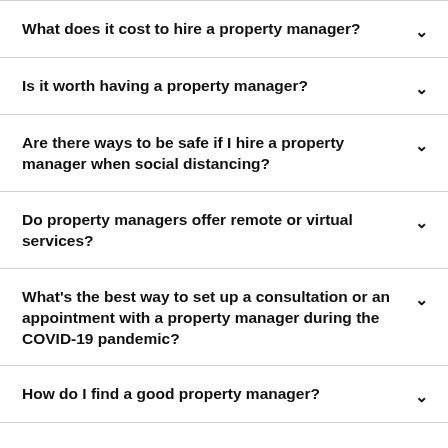What does it cost to hire a property manager?
Is it worth having a property manager?
Are there ways to be safe if I hire a property manager when social distancing?
Do property managers offer remote or virtual services?
What's the best way to set up a consultation or an appointment with a property manager during the COVID-19 pandemic?
How do I find a good property manager?